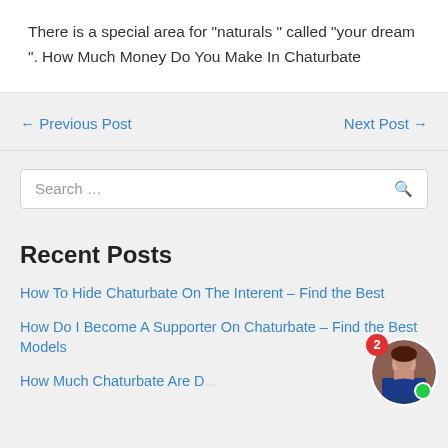There is a special area for “naturals ” called “your dream ”. How Much Money Do You Make In Chaturbate
← Previous Post
Next Post →
Search …
Recent Posts
How To Hide Chaturbate On The Interent – Find the Best
How Do I Become A Supporter On Chaturbate – Find the Best Models
How Much Chaturbate Are Doma Find the Best Models